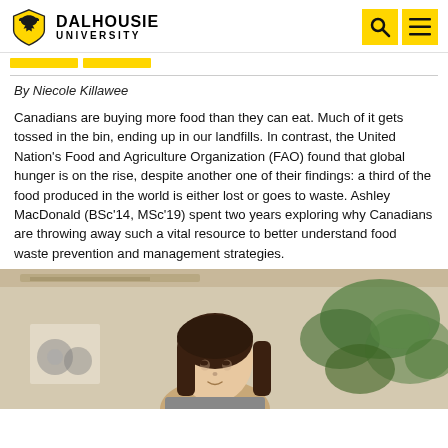Dalhousie University
By Niecole Killawee
Canadians are buying more food than they can eat. Much of it gets tossed in the bin, ending up in our landfills. In contrast, the United Nation's Food and Agriculture Organization (FAO) found that global hunger is on the rise, despite another one of their findings: a third of the food produced in the world is either lost or goes to waste. Ashley MacDonald (BSc'14, MSc'19) spent two years exploring why Canadians are throwing away such a vital resource to better understand food waste prevention and management strategies.
[Figure (photo): Photo of a young woman with dark hair standing indoors near plants and wooden beams, presumably Ashley MacDonald]